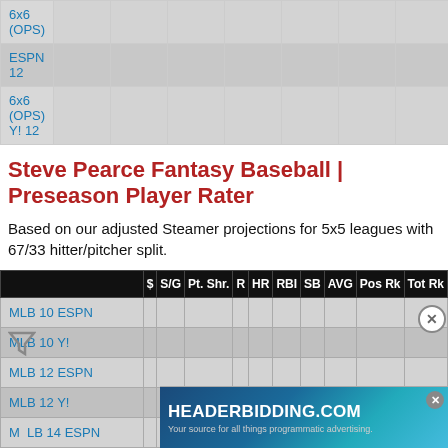|  |  |  |  |  |  |  |  |  |  |  |
| --- | --- | --- | --- | --- | --- | --- | --- | --- | --- | --- |
| 6x6 (OPS) |  |  |  |  |  |  |  |  |  |  |
| ESPN 12 |  |  |  |  |  |  |  |  |  |  |
| 6x6 (OPS) Y! 12 |  |  |  |  |  |  |  |  |  |  |
Steve Pearce Fantasy Baseball | Preseason Player Rater
Based on our adjusted Steamer projections for 5x5 leagues with 67/33 hitter/pitcher split.
|  | $ | S/G | Pt. Shr. | R | HR | RBI | SB | AVG | Pos Rk | Tot Rk |
| --- | --- | --- | --- | --- | --- | --- | --- | --- | --- | --- |
| MLB 10 ESPN |  |  |  |  |  |  |  |  |  |  |
| MLB 10 Y! |  |  |  |  |  |  |  |  |  |  |
| MLB 12 ESPN |  |  |  |  |  |  |  |  |  |  |
| MLB 12 Y! |  |  |  |  |  |  |  |  |  |  |
| MLB 14 ESPN |  |  |  |  |  |  |  |  |  |  |
| MLB 14 Y! |  |  |  |  |  |  |  |  |  |  |
| MLB 15 E |  |  |  |  |  |  |  |  |  |  |